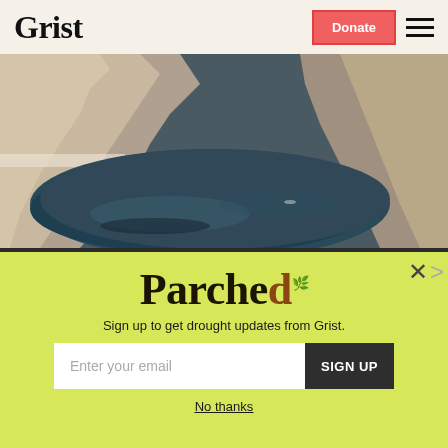Grist | Donate
[Figure (photo): Aerial view of Lake Mead or Colorado River reservoir showing dramatically low water levels with white bathtub ring on rocky canyon walls, dark blue water visible below]
How Colorado River Basin tribes are
[Figure (infographic): Parched newsletter signup modal overlay on yellow-green background with 'Parched' logo, email signup form, and 'No thanks' link]
Sign up to get drought updates from Grist.
No thanks